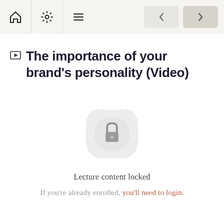Navigation bar with home, settings, menu icons and back/forward buttons
The importance of your brand's personality (Video)
[Figure (illustration): A decorative circular badge with mandala-style border containing a padlock icon in the center, in light grey tones indicating locked content]
Lecture content locked
If you're already enrolled, you'll need to login.